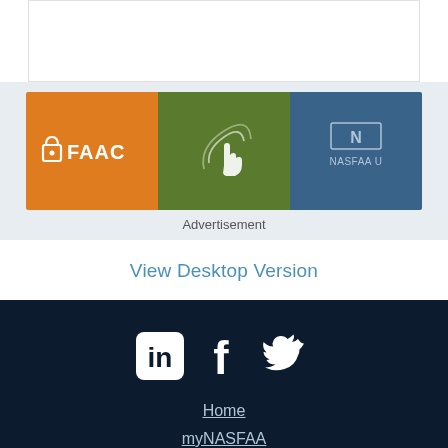[Figure (illustration): White content area at top of page]
[Figure (illustration): Advertisement banner with three colored panels: orange panel with FAAC logo, green panel with hand/touch icon, blue panel with NASFAA U logo]
Advertisement
View Desktop Version
[Figure (illustration): Social media icons: LinkedIn, Facebook, Twitter (white icons on dark navy background)]
Home
myNASFAA